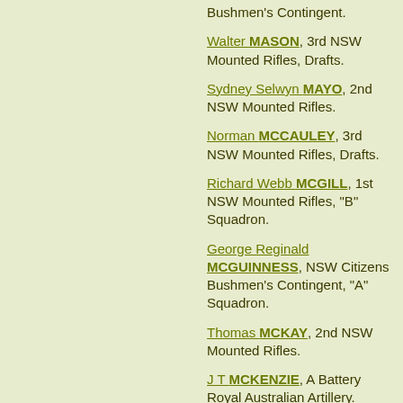Bushmen's Contingent.
Walter MASON, 3rd NSW Mounted Rifles, Drafts.
Sydney Selwyn MAYO, 2nd NSW Mounted Rifles.
Norman MCCAULEY, 3rd NSW Mounted Rifles, Drafts.
Richard Webb MCGILL, 1st NSW Mounted Rifles, "B" Squadron.
George Reginald MCGUINNESS, NSW Citizens Bushmen's Contingent, "A" Squadron.
Thomas MCKAY, 2nd NSW Mounted Rifles.
J T MCKENZIE, A Battery Royal Australian Artillery.
William MCKERR, 3rd NSW Imperial Bushmen.
Simon MCLENNAN, 1st NSW Mounted Rifles, "E" Squadron.